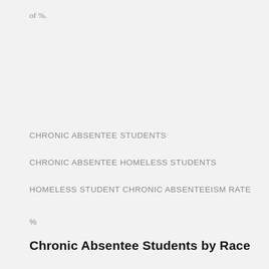of %.
CHRONIC ABSENTEE STUDENTS
CHRONIC ABSENTEE HOMELESS STUDENTS
HOMELESS STUDENT CHRONIC ABSENTEEISM RATE
%
Chronic Absentee Students by Race